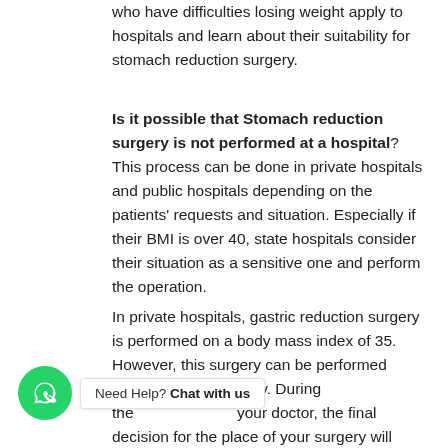who have difficulties losing weight apply to hospitals and learn about their suitability for stomach reduction surgery.
Is it possible that Stomach reduction surgery is not performed at a hospital? This process can be done in private hospitals and public hospitals depending on the patients' requests and situation. Especially if their BMI is over 40, state hospitals consider their situation as a sensitive one and perform the operation.
In private hospitals, gastric reduction surgery is performed on a body mass index of 35. However, this surgery can be performed in cases if it is necessary. During the consultation with your doctor, the final decision for the place of your surgery will